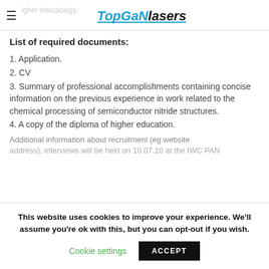TopGaN Lasers
List of required documents:
1. Application.
2. CV
3. Summary of professional accomplishments containing concise information on the previous experience in work related to the chemical processing of semiconductor nitride structures.
4. A copy of the diploma of higher education.
Additional information about recruitment (eg website address), interviews will be held on 10.07.10 at the IWC PAN
This website uses cookies to improve your experience. We'll assume you're ok with this, but you can opt-out if you wish.